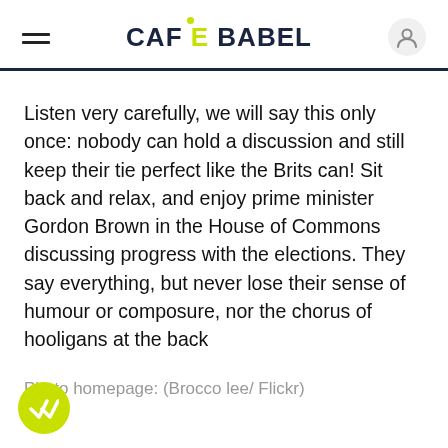CAFEBABEL
Listen very carefully, we will say this only once: nobody can hold a discussion and still keep their tie perfect like the Brits can! Sit back and relax, and enjoy prime minister Gordon Brown in the House of Commons discussing progress with the elections. They say everything, but never lose their sense of humour or composure, nor the chorus of hooligans at the back
Photo homepage: (Brocco lee/ Flickr)